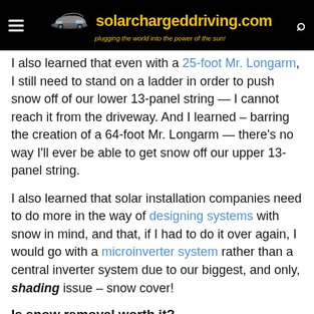solarchargeddriving.com — plugging the world into the power of the sun!
I also learned that even with a 25-foot Mr. Longarm, I still need to stand on a ladder in order to push snow off of our lower 13-panel string — I cannot reach it from the driveway. And I learned – barring the creation of a 64-foot Mr. Longarm — there's no way I'll ever be able to get snow off our upper 13-panel string.
I also learned that solar installation companies need to do more in the way of designing systems with snow in mind, and that, if I had to do it over again, I would go with a microinverter system rather than a central inverter system due to our biggest, and only, shading issue – snow cover!
Is snow removal worth it?
I'm still learning as we enter winter No. 2 with our 5.59